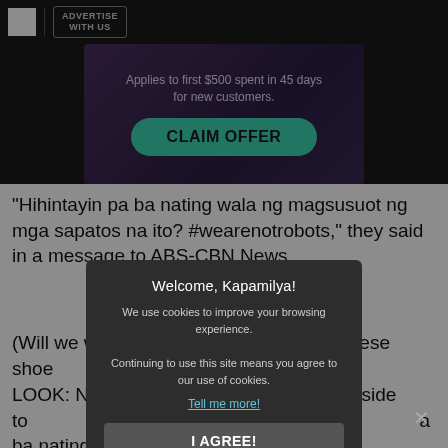ADVERTISE WITH US
[Figure (screenshot): Advertisement banner with purple gradient background, text 'Applies to first $500 spent in 45 days for new customers.' and a teal CLAIM OFFER button]
"Hihintayin pa ba nating wala ng magsusuot ng mga sapatos na ito? #wearenotrobots," they said in a message to ABS-CBN News.
(Will we wa... rs wearing these sho...
LOOK: Nurs... eir shoes outside to... l supply of PPEs to pa... a ba nating
[Figure (screenshot): Cookie consent modal dialog with dark background. Title: 'Welcome, Kapamilya!' Body: 'We use cookies to improve your browsing experience. Continuing to use this site means you agree to our use of cookies.' Link: 'Tell me more!' Button: 'I AGREE!']